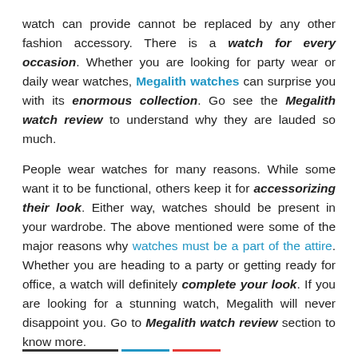watch can provide cannot be replaced by any other fashion accessory. There is a watch for every occasion. Whether you are looking for party wear or daily wear watches, Megalith watches can surprise you with its enormous collection. Go see the Megalith watch review to understand why they are lauded so much.
People wear watches for many reasons. While some want it to be functional, others keep it for accessorizing their look. Either way, watches should be present in your wardrobe. The above mentioned were some of the major reasons why watches must be a part of the attire. Whether you are heading to a party or getting ready for office, a watch will definitely complete your look. If you are looking for a stunning watch, Megalith will never disappoint you. Go to Megalith watch review section to know more.